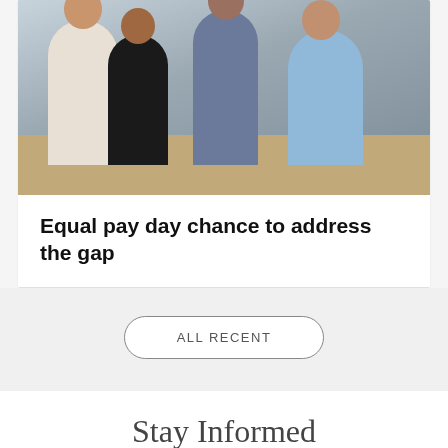[Figure (photo): Four colleagues in an office setting — a woman in white gesturing, a woman in black holding papers, a man in purple shirt, and a man in light blue holding a laptop.]
Equal pay day chance to address the gap
ALL RECENT
Stay Informed
Receive regular news and views to